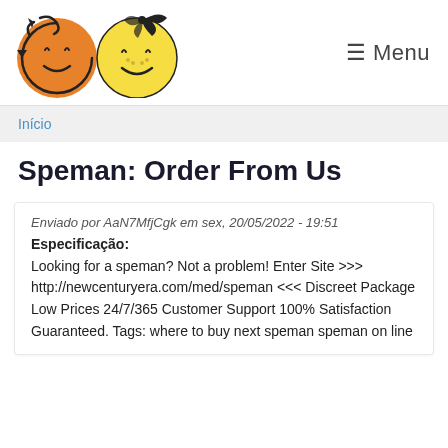[Figure (logo): Two smiley face logo icons — one orange with a recycling arrow, one yellow with a bow — side by side]
☰ Menu
Início
Speman: Order From Us
Enviado por AaN7MfjCgk em sex, 20/05/2022 - 19:51
Especificação:
Looking for a speman? Not a problem! Enter Site >>> http://newcenturyera.com/med/speman <<< Discreet Package Low Prices 24/7/365 Customer Support 100% Satisfaction Guaranteed. Tags: where to buy next speman speman on line